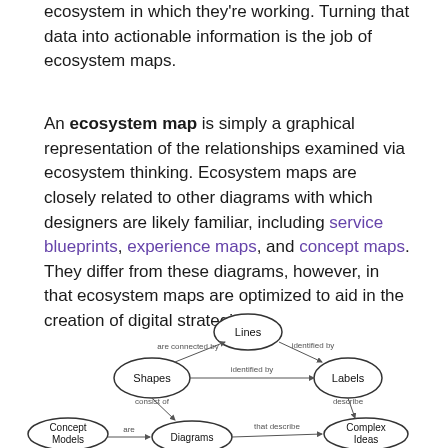ecosystem in which they're working. Turning that data into actionable information is the job of ecosystem maps.
An ecosystem map is simply a graphical representation of the relationships examined via ecosystem thinking. Ecosystem maps are closely related to other diagrams with which designers are likely familiar, including service blueprints, experience maps, and concept maps. They differ from these diagrams, however, in that ecosystem maps are optimized to aid in the creation of digital strategies.
[Figure (flowchart): A concept map diagram showing nodes: Lines, Shapes, Labels, Concept Models, Diagrams, Complex Ideas. Connected with labeled arrows: 'are connected by' (Shapes to Lines), 'identified by' (Lines to Labels), 'identified by' (Shapes to Labels), 'consist of' (Diagrams to Shapes), 'describe' (Labels to Complex Ideas), 'are' (Concept Models to Diagrams), 'that describe' (Diagrams to Complex Ideas). Nodes shown as circles with text.]